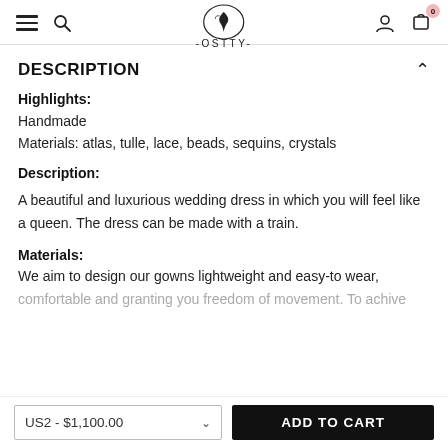OSTTY navigation bar with hamburger, search, logo, user, cart
DESCRIPTION
Highlights:
Handmade
Materials: atlas, tulle, lace, beads, sequins, crystals
Description:
A beautiful and luxurious wedding dress in which you will feel like a queen. The dress can be made with a train.
Materials:
We aim to design our gowns lightweight and easy-to wear, comfortable and granting you freedom of movement. To achive
US2 - $1,100.00
ADD TO CART